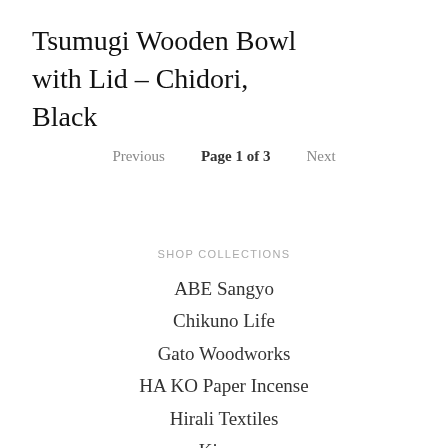Tsumugi Wooden Bowl with Lid – Chidori, Black
Previous   Page 1 of 3   Next
SHOP COLLECTIONS
ABE Sangyo
Chikuno Life
Gato Woodworks
HA KO Paper Incense
Hirali Textiles
Kizara
Kontex